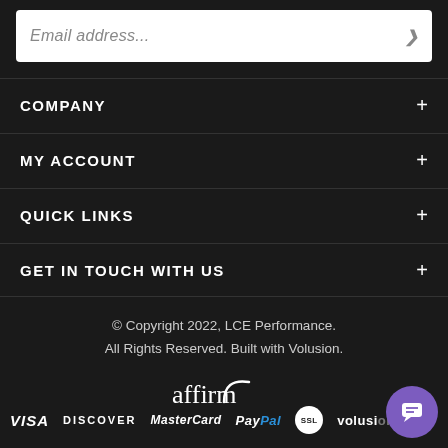[Figure (screenshot): Email address input field with red right-arrow button on white background]
COMPANY
MY ACCOUNT
QUICK LINKS
GET IN TOUCH WITH US
© Copyright 2022, LCE Performance. All Rights Reserved. Built with Volusion.
[Figure (logo): Affirm payment logo]
[Figure (logo): Payment method logos: VISA, DISCOVER, MasterCard, PayPal, SSL, Volusion Secure]